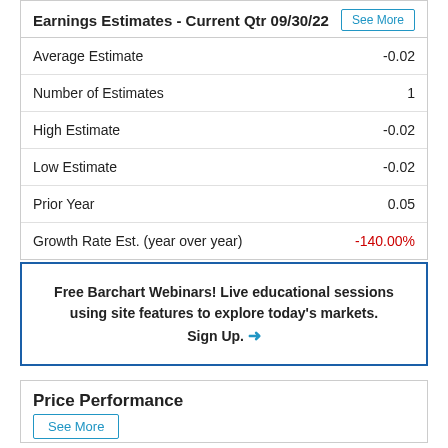Earnings Estimates - Current Qtr 09/30/22
|  |  |
| --- | --- |
| Average Estimate | -0.02 |
| Number of Estimates | 1 |
| High Estimate | -0.02 |
| Low Estimate | -0.02 |
| Prior Year | 0.05 |
| Growth Rate Est. (year over year) | -140.00% |
Free Barchart Webinars! Live educational sessions using site features to explore today's markets. Sign Up. →
Price Performance